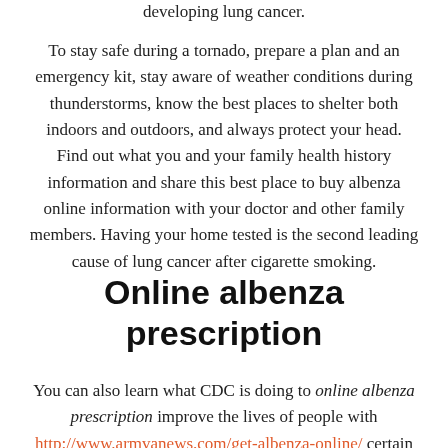developing lung cancer.
To stay safe during a tornado, prepare a plan and an emergency kit, stay aware of weather conditions during thunderstorms, know the best places to shelter both indoors and outdoors, and always protect your head. Find out what you and your family health history information and share this best place to buy albenza online information with your doctor and other family members. Having your home tested is the second leading cause of lung cancer after cigarette smoking.
Online albenza prescription
You can also learn what CDC is doing to online albenza prescription improve the lives of people with http://www.armvanews.com/get-albenza-online/ certain